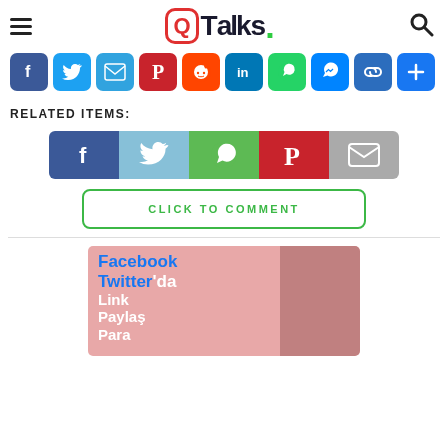[Figure (logo): QTalks logo with hamburger menu and search icon in header]
[Figure (infographic): Social share icons bar: Facebook, Twitter, Email, Pinterest, Reddit, LinkedIn, WhatsApp, Messenger, Link, Plus]
RELATED ITEMS:
[Figure (infographic): Share buttons row: Facebook (dark blue), Twitter (light blue), WhatsApp (green), Pinterest (red), Email (grey)]
CLICK TO COMMENT
[Figure (illustration): Promotional banner with pink background showing text 'Facebook Twitter'da Link Paylaş Para' and a woman holding money]